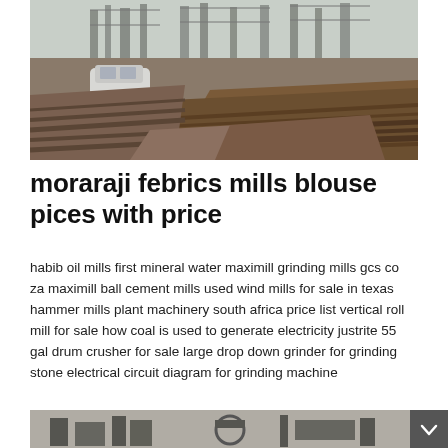[Figure (photo): Construction site with piles of scrap metal and steel plates in the foreground, unfinished concrete building structure in the background, and a white sedan car parked on the left.]
moraraji febrics mills blouse pices with price
habib oil mills first mineral water maximill grinding mills gcs co za maximill ball cement mills used wind mills for sale in texas hammer mills plant machinery south africa price list vertical roll mill for sale how coal is used to generate electricity justrite 55 gal drum crusher for sale large drop down grinder for grinding stone electrical circuit diagram for grinding machine
[Figure (photo): Partially visible bottom photo showing industrial machinery or equipment, cropped at page bottom.]